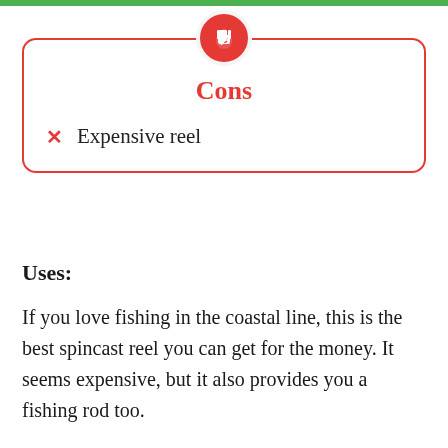Cons
Expensive reel
Uses:
If you love fishing in the coastal line, this is the best spincast reel you can get for the money. It seems expensive, but it also provides you a fishing rod too.